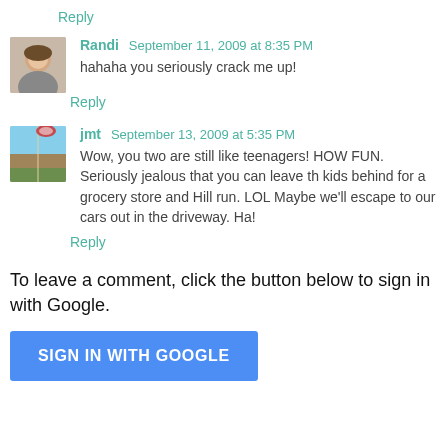Reply
Randi  September 11, 2009 at 8:35 PM
hahaha you seriously crack me up!
Reply
jmt  September 13, 2009 at 5:35 PM
Wow, you two are still like teenagers! HOW FUN. Seriously jealous that you can leave th kids behind for a grocery store and Hill run. LOL Maybe we'll escape to our cars out in the driveway. Ha!
Reply
To leave a comment, click the button below to sign in with Google.
[Figure (other): Blue SIGN IN WITH GOOGLE button]